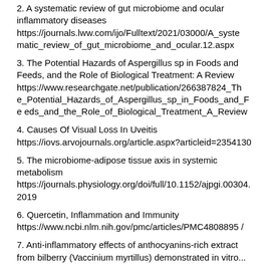2. A systematic review of gut microbiome and ocular inflammatory diseases https://journals.lww.com/ijo/Fulltext/2021/03000/A_systematic_review_of_gut_microbiome_and_ocular.12.aspx
3. The Potential Hazards of Aspergillus sp in Foods and Feeds, and the Role of Biological Treatment: A Review https://www.researchgate.net/publication/266387824_The_Potential_Hazards_of_Aspergillus_sp_in_Foods_and_Feeds_and_the_Role_of_Biological_Treatment_A_Review
4. Causes Of Visual Loss In Uveitis https://iovs.arvojournals.org/article.aspx?articleid=2354130
5. The microbiome-adipose tissue axis in systemic metabolism https://journals.physiology.org/doi/full/10.1152/ajpgi.00304.2019
6. Quercetin, Inflammation and Immunity https://www.ncbi.nlm.nih.gov/pmc/articles/PMC4808895/
7. Anti-inflammatory effects of anthocyanins-rich extract from bilberry (Vaccinium myrtillus) demonstrated in vitro...